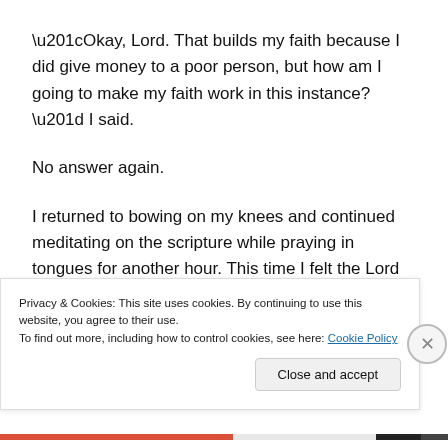“Okay, Lord. That builds my faith because I did give money to a poor person, but how am I going to make my faith work in this instance?” I said.
No answer again.
I returned to bowing on my knees and continued meditating on the scripture while praying in tongues for another hour. This time I felt the Lord instructed me to cut out a piece of paper and tape it over my gas gauge so the
Privacy & Cookies: This site uses cookies. By continuing to use this website, you agree to their use.
To find out more, including how to control cookies, see here: Cookie Policy
Close and accept